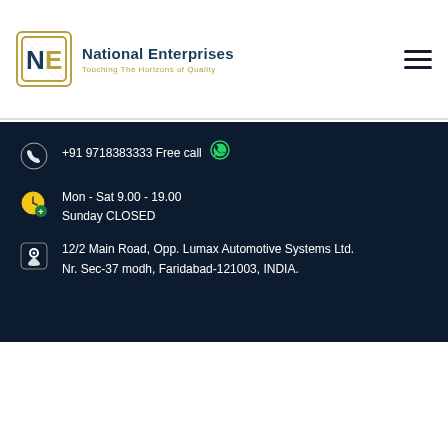[Figure (logo): National Enterprises logo with NE monogram in gold-bordered box and tagline 'Touching The Horizons of Quality']
+91 9718383333 Free call
Mon - Sat 9.00 - 19.00
Sunday CLOSED
12/2 Main Road, Opp. Lumax Automotive Systems Ltd.
Nr. Sec-37 modh, Faridabad-121003, INDIA.